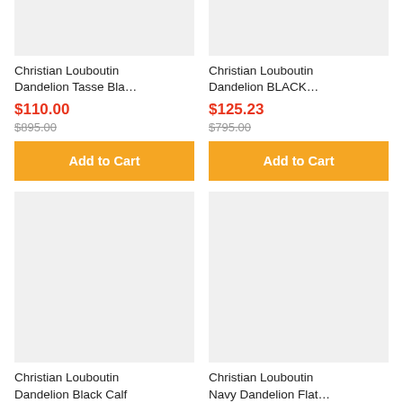[Figure (photo): Product image placeholder (light gray) for Christian Louboutin Dandelion Tasse Bla...]
Christian Louboutin Dandelion Tasse Bla...
$110.00
$895.00
Add to Cart
[Figure (photo): Product image placeholder (light gray) for Christian Louboutin Dandelion BLACK...]
Christian Louboutin Dandelion BLACK...
$125.23
$795.00
Add to Cart
[Figure (photo): Product image placeholder (light gray) for Christian Louboutin Dandelion Black Calf]
Christian Louboutin Dandelion Black Calf
[Figure (photo): Product image placeholder (light gray) for Christian Louboutin Navy Dandelion Flat...]
Christian Louboutin Navy Dandelion Flat...